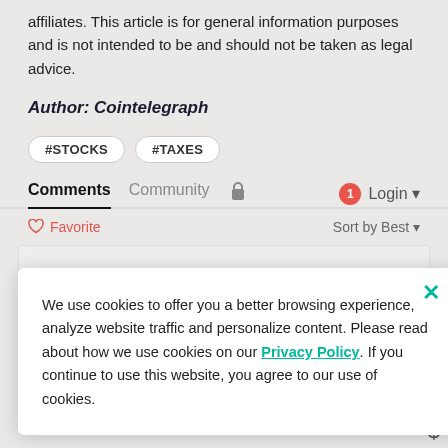affiliates. This article is for general information purposes and is not intended to be and should not be taken as legal advice.
Author: Cointelegraph
#STOCKS
#TAXES
Comments  Community  🔒  1  Login
♡ Favorite  Sort by Best
We use cookies to offer you a better browsing experience, analyze website traffic and personalize content. Please read about how we use cookies on our Privacy Policy. If you continue to use this website, you agree to our use of cookies.